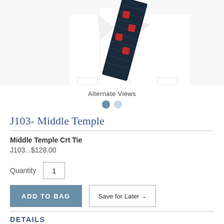[Figure (photo): Product photo showing a white dress shirt with a folded dark navy tie featuring red emblem pattern, photographed on white background. Image is cropped showing upper portion of shirt and tie.]
Alternate Views
J103- Middle Temple
Middle Temple Crt Tie
J103...$128.00
Quantity 1
ADD TO BAG
Save for Later
DETAILS